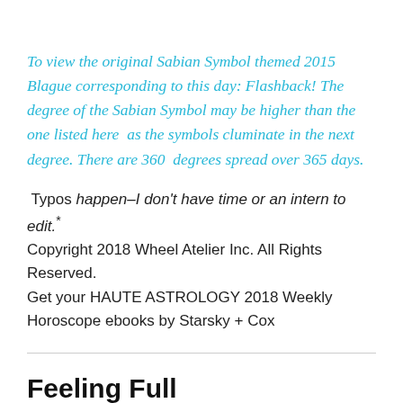To view the original Sabian Symbol themed 2015 Blague corresponding to this day: Flashback! The degree of the Sabian Symbol may be higher than the one listed here  as the symbols cluminate in the next degree. There are 360  degrees spread over 365 days.
Typos happen–I don't have time or an intern to edit.* Copyright 2018 Wheel Atelier Inc. All Rights Reserved. Get your HAUTE ASTROLOGY 2018 Weekly Horoscope ebooks by Starsky + Cox
Feeling Full